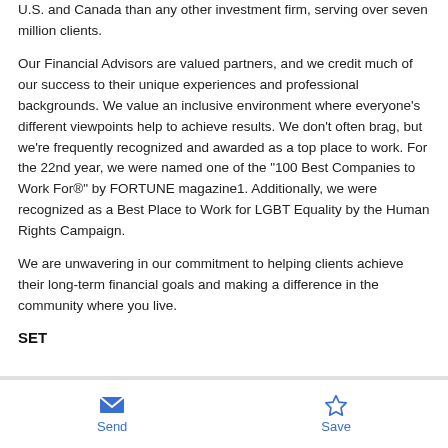U.S. and Canada than any other investment firm, serving over seven million clients.
Our Financial Advisors are valued partners, and we credit much of our success to their unique experiences and professional backgrounds. We value an inclusive environment where everyone's different viewpoints help to achieve results. We don't often brag, but we're frequently recognized and awarded as a top place to work. For the 22nd year, we were named one of the "100 Best Companies to Work For®" by FORTUNE magazine1. Additionally, we were recognized as a Best Place to Work for LGBT Equality by the Human Rights Campaign.
We are unwavering in our commitment to helping clients achieve their long-term financial goals and making a difference in the community where you live.
SET
Send  Save